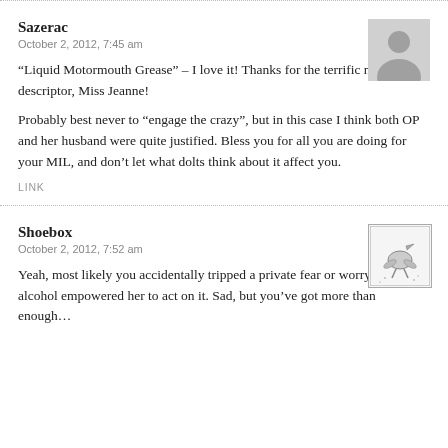Sazerac
October 2, 2012, 7:45 am
[Figure (illustration): Gray placeholder avatar silhouette]
“Liquid Motormouth Grease” – I love it! Thanks for the terrific new descriptor, Miss Jeanne!
Probably best never to “engage the crazy”, but in this case I think both OP and her husband were quite justified. Bless you for all you are doing for your MIL, and don’t let what dolts think about it affect you.
LINK
Shoebox
October 2, 2012, 7:52 am
[Figure (illustration): Small illustrated bird/creature avatar in box]
Yeah, most likely you accidentally tripped a private fear or worry, and alcohol empowered her to act on it. Sad, but you’ve got more than enough…